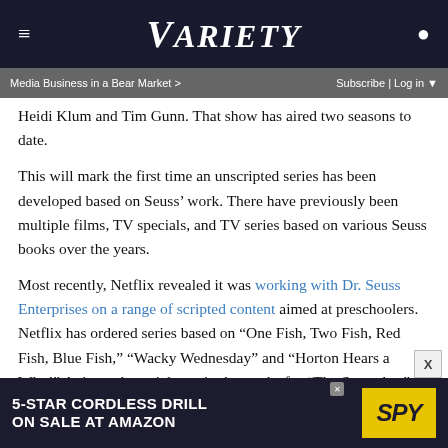VARIETY
Media Business in a Bear Market > Subscribe | Log in
Heidi Klum and Tim Gunn. That show has aired two seasons to date.
This will mark the first time an unscripted series has been developed based on Seuss’ work. There have previously been multiple films, TV specials, and TV series based on various Seuss books over the years.
Most recently, Netflix revealed it was working with Dr. Seuss Enterprises on a range of scripted content aimed at preschoolers. Netflix has ordered series based on “One Fish, Two Fish, Red Fish, Blue Fish,” “Wacky Wednesday” and “Horton Hears a Who!” Animated specials are in the works for “The Sneetches” and “Thidwick the Big-Hearted Moose.”
[Figure (other): 5-STAR CORDLESS DRILL ON SALE AT AMAZON advertisement with SPY logo]